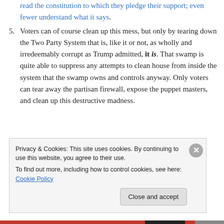read the constitution to which they pledge their support; even fewer understand what it says.
5. Voters can of course clean up this mess, but only by tearing down the Two Party System that is, like it or not, as wholly and irredeemably corrupt as Trump admitted, it is. That swamp is quite able to suppress any attempts to clean house from inside the system that the swamp owns and controls anyway. Only voters can tear away the partisan firewall, expose the puppet masters, and clean up this destructive madness.
Privacy & Cookies: This site uses cookies. By continuing to use this website, you agree to their use. To find out more, including how to control cookies, see here: Cookie Policy
Close and accept